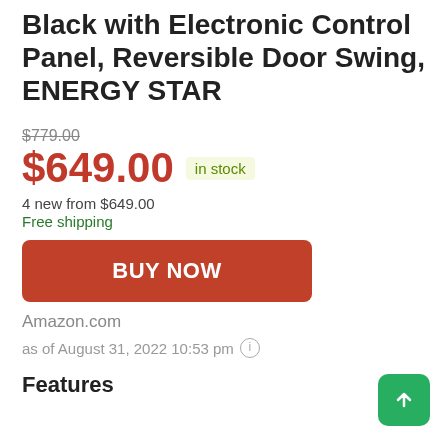Black with Electronic Control Panel, Reversible Door Swing, ENERGY STAR
$779.00
$649.00 in stock
4 new from $649.00
Free shipping
BUY NOW
Amazon.com
as of August 31, 2022 10:53 pm
Features